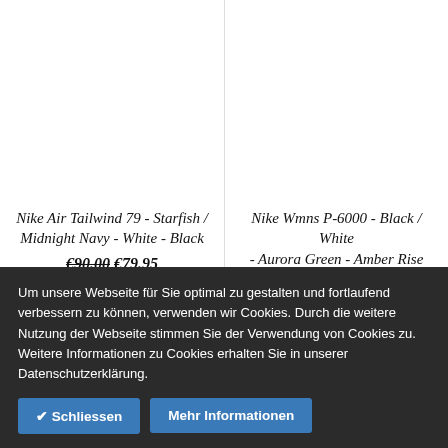Nike Air Tailwind 79 - Starfish / Midnight Navy - White - Black
€90.00 €79.95
Nike Wmns P-6000 - Black / White - Aurora Green - Amber Rise
€120.00
Um unsere Webseite für Sie optimal zu gestalten und fortlaufend verbessern zu können, verwenden wir Cookies. Durch die weitere Nutzung der Webseite stimmen Sie der Verwendung von Cookies zu. Weitere Informationen zu Cookies erhalten Sie in unserer Datenschutzerklärung.
✔ Schliessen
Mehr Informationen